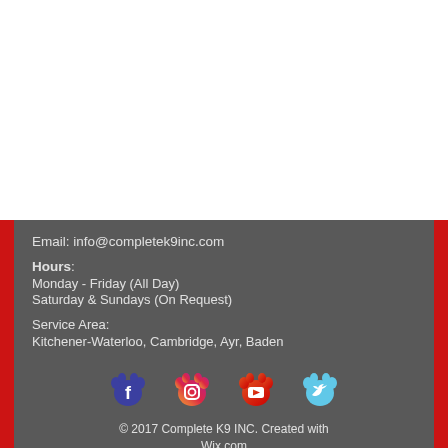Email: info@completek9inc.com
Hours:
Monday - Friday (All Day)
Saturday & Sundays (On Request)
Service Area:
Kitchener-Waterloo, Cambridge, Ayr, Baden
[Figure (illustration): Four social media icons styled as colorful paw prints: Facebook (blue paw), Instagram (pink/purple/orange gradient paw), YouTube (red/orange paw), Twitter (light blue paw)]
© 2017 Complete K9 INC. Created with Wix.com